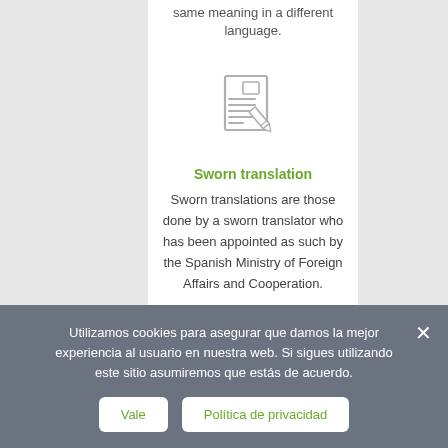same meaning in a different language.
[Figure (illustration): Icon of a document with lines of text and a pencil/pen overlapping it, rendered in light gray outlines.]
Sworn translation
Sworn translations are those done by a sworn translator who has been appointed as such by the Spanish Ministry of Foreign Affairs and Cooperation.
Learn more
Utilizamos cookies para asegurar que damos la mejor experiencia al usuario en nuestra web. Si sigues utilizando este sitio asumiremos que estás de acuerdo.
Vale
Política de privacidad